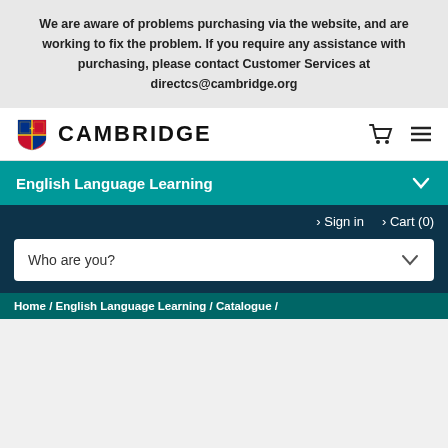We are aware of problems purchasing via the website, and are working to fix the problem. If you require any assistance with purchasing, please contact Customer Services at directcs@cambridge.org
[Figure (logo): Cambridge University Press logo with shield and CAMBRIDGE text]
English Language Learning
> Sign in  > Cart (0)
Who are you?
Home / English Language Learning / Catalogue /
This website uses Cookies
By clicking “Accept All Cookies”, you agree to the storing of cookies on your device to enhance site navigation, analyse site usage, and assist in our marketing efforts.   Cookie Notice